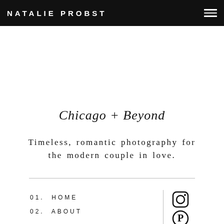NATALIE PROBST
Chicago + Beyond
Timeless, romantic photography for the modern couple in love.
01.  HOME
02.  ABOUT
[Figure (illustration): Instagram icon (camera outline) and Pinterest icon (P circle), social media icons in black]